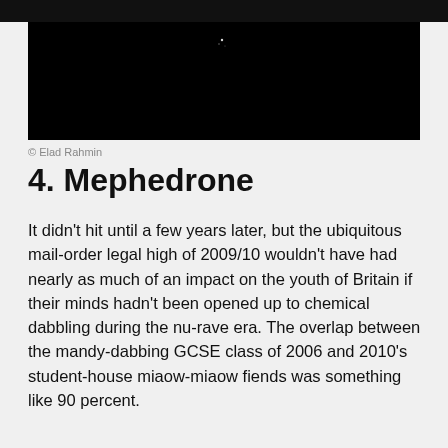[Figure (photo): Dark/black photograph, mostly black with faint small white light dots near the top center, bordered by a black bar at the top]
© Elad Rahmin
4. Mephedrone
It didn't hit until a few years later, but the ubiquitous mail-order legal high of 2009/10 wouldn't have had nearly as much of an impact on the youth of Britain if their minds hadn't been opened up to chemical dabbling during the nu-rave era. The overlap between the mandy-dabbing GCSE class of 2006 and 2010's student-house miaow-miaow fiends was something like 90 percent.